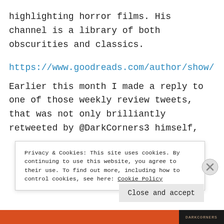highlighting horror films. His channel is a library of both obscurities and classics.
https://www.goodreads.com/author/show/7
Earlier this month I made a reply to one of those weekly review tweets, that was not only brilliantly retweeted by @DarkCorners3 himself,
Privacy & Cookies: This site uses cookies. By continuing to use this website, you agree to their use. To find out more, including how to control cookies, see here: Cookie Policy
Close and accept